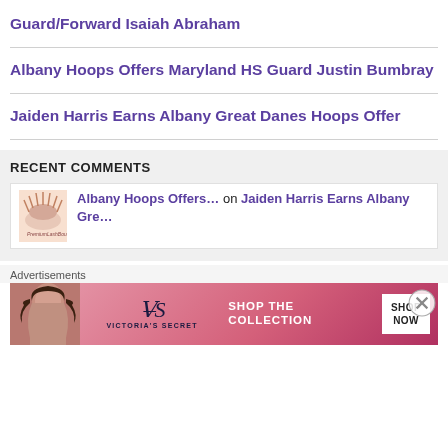Guard/Forward Isaiah Abraham
Albany Hoops Offers Maryland HS Guard Justin Bumbray
Jaiden Harris Earns Albany Great Danes Hoops Offer
RECENT COMMENTS
Albany Hoops Offers… on Jaiden Harris Earns Albany Gre…
[Figure (photo): Advertisement banner: Victoria's Secret - Shop The Collection - Shop Now]
Advertisements